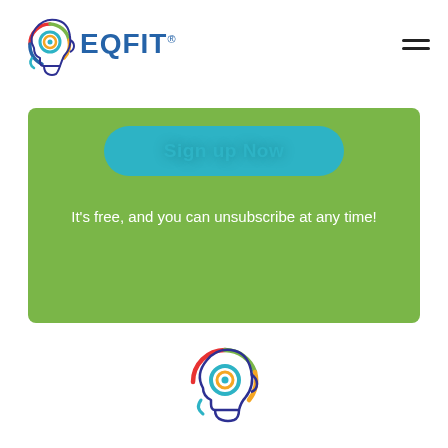EQFIT
[Figure (logo): EQFIT logo with colorful head icon and blue EQFIT text in the page header]
[Figure (other): Green banner with teal Sign up Now button]
It's free, and you can unsubscribe at any time!
[Figure (logo): EQFIT colorful head icon logo centered at the bottom of the page]